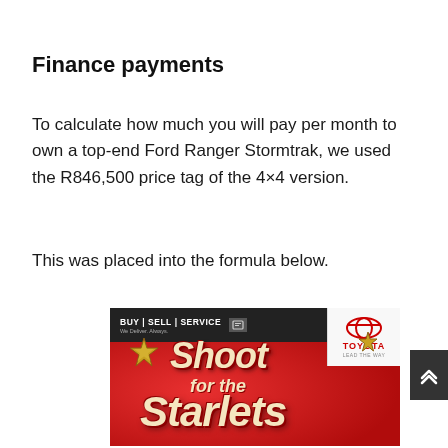Finance payments
To calculate how much you will pay per month to own a top-end Ford Ranger Stormtrak, we used the R846,500 price tag of the 4×4 version.
This was placed into the formula below.
[Figure (illustration): Toyota dealership advertisement with red background showing 'Shoot for the Starlets' promotional text with star decorations and Toyota logo in the top right corner. Top bar reads 'BUY | SELL | SERVICE / We Deliver. Always.']